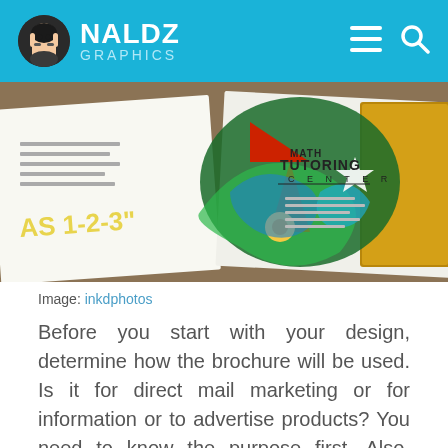NALDZ GRAPHICS
[Figure (photo): Photograph of printed brochures fanned out on a table, showing colorful graphic design elements including '1-2-3', swirling illustrations, and a Math Tutoring Center brochure]
Image: inkdphotos
Before you start with your design, determine how the brochure will be used. Is it for direct mail marketing or for information or to advertise products? You need to know the purpose first. Also, acquire all the needed information for the brochure so that you can choose the appropriate design for it. You should also